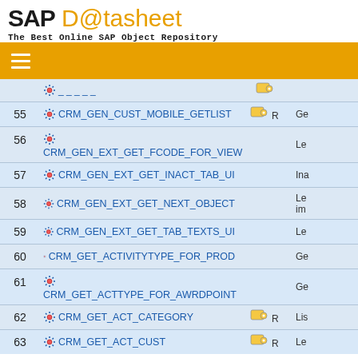SAP Datasheet - The Best Online SAP Object Repository
| # | Name |  | Description |
| --- | --- | --- | --- |
| 55 | CRM_GEN_CUST_MOBILE_GETLIST | R | Ge... |
| 56 | CRM_GEN_EXT_GET_FCODE_FOR_VIEW |  | Le... |
| 57 | CRM_GEN_EXT_GET_INACT_TAB_UI |  | Ina... |
| 58 | CRM_GEN_EXT_GET_NEXT_OBJECT |  | Le... im... |
| 59 | CRM_GEN_EXT_GET_TAB_TEXTS_UI |  | Le... |
| 60 | CRM_GET_ACTIVITYTYPE_FOR_PROD |  | Ge... |
| 61 | CRM_GET_ACTTYPE_FOR_AWRDPOINT |  | Ge... |
| 62 | CRM_GET_ACT_CATEGORY | R | Lis... |
| 63 | CRM_GET_ACT_CUST | R | Le... |